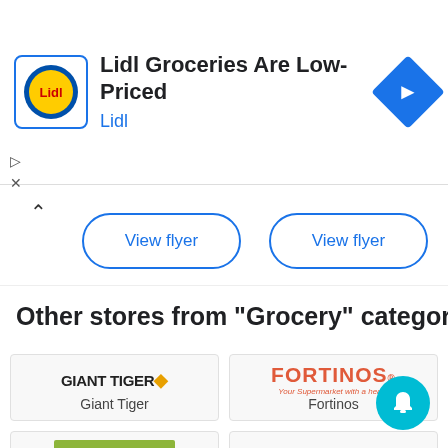[Figure (screenshot): Lidl advertisement banner with Lidl logo, text 'Lidl Groceries Are Low-Priced', brand name 'Lidl' in blue, and a blue navigation diamond icon on the right]
View flyer
View flyer
Other stores from "Grocery" category
[Figure (logo): Giant Tiger logo - bold black text with orange dot]
Giant Tiger
[Figure (logo): Fortinos logo - red bold text with italic subtitle 'Your Supermarket with a heart!']
Fortinos
[Figure (logo): FreshCo logo on green background with tagline 'Lowering food prices']
FreshCo
[Figure (logo): Foodland logo in red bold text]
Foodland